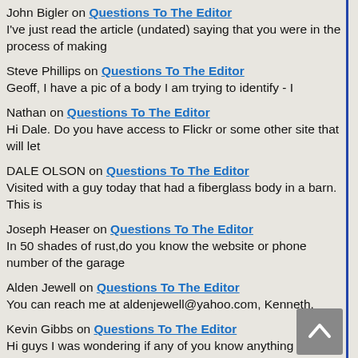John Bigler on Questions To The Editor
I've just read the article (undated) saying that you were in the process of making
Steve Phillips on Questions To The Editor
Geoff, I have a pic of a body I am trying to identify - I
Nathan on Questions To The Editor
Hi Dale. Do you have access to Flickr or some other site that will let
DALE OLSON on Questions To The Editor
Visited with a guy today that had a fiberglass body in a barn. This is
Joseph Heaser on Questions To The Editor
In 50 shades of rust,do you know the website or phone number of the garage
Alden Jewell on Questions To The Editor
You can reach me at aldenjewell@yahoo.com, Kenneth.
Kevin Gibbs on Questions To The Editor
Hi guys I was wondering if any of you know anything about the cortez project
Kevin Gibbs on Questions To The Editor